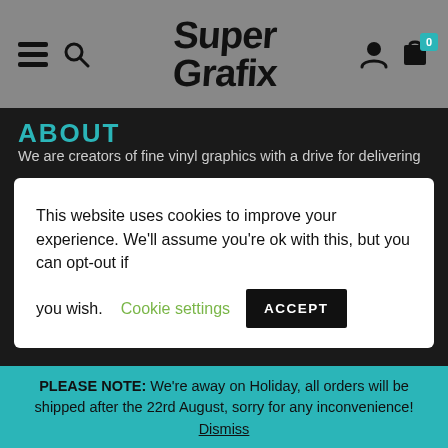Super Grafix website header with hamburger menu, search icon, logo, user icon, and cart
ABOUT
We are creators of fine vinyl graphics with a drive for delivering
This website uses cookies to improve your experience. We'll assume you're ok with this, but you can opt-out if you wish. Cookie settings ACCEPT
CUSTOM STICKERS
CUSTOM CLOTHING
PLEASE NOTE: We're away on Holiday, all orders will be shipped after the 22rd August, sorry for any inconvenience! Dismiss